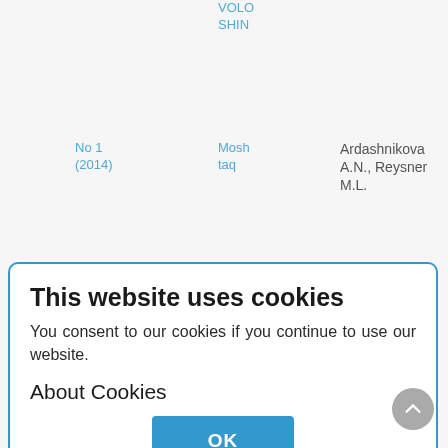VOLOSHIN
No 1 (2014)
Moshtaq
Ardashnikova A.N., Reysner M.L.
istana
Formation of Style in Persian Poetry of the
This website uses cookies
You consent to our cookies if you continue to use our website.
About Cookies
OK